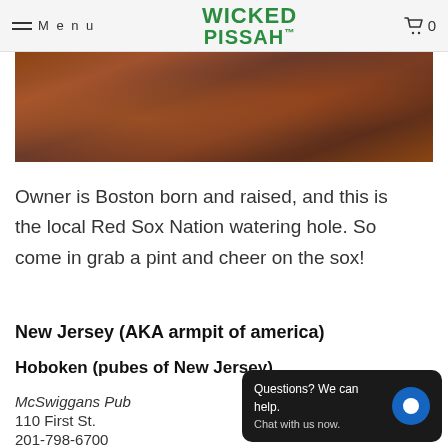Menu | Wicked Pissah | 0
[Figure (photo): Bar interior photo showing wooden stools and warm lighting]
Owner is Boston born and raised, and this is the local Red Sox Nation watering hole. So come in grab a pint and cheer on the sox!
New Jersey (AKA armpit of america)
Hoboken (pubes of New Jersey)
McSwiggans Pub
110 First St.
201-798-6700